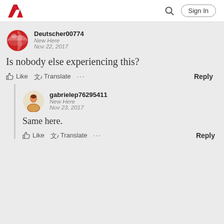Adobe Community
Deutscher00774
New Here
Nov 22, 2017
Is nobody else experiencing this?
Like  Translate  ...  Reply
gabrielep76295411
New Here
Nov 23, 2017
Same here.
Like  Translate  ...  Reply